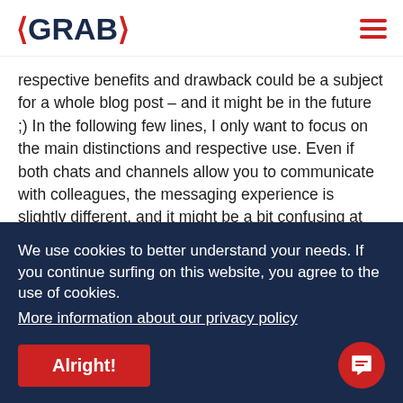GRABX
respective benefits and drawback could be a subject for a whole blog post – and it might be in the future ;) In the following few lines, I only want to focus on the main distinctions and respective use. Even if both chats and channels allow you to communicate with colleagues, the messaging experience is slightly different, and it might be a bit confusing at the beginning. Nevertheless, I am convinced that you'll make sense of the differences and change the way you're using them with a bit of
We use cookies to better understand your needs. If you continue surfing on this website, you agree to the use of cookies.
More information about our privacy policy
Alright!